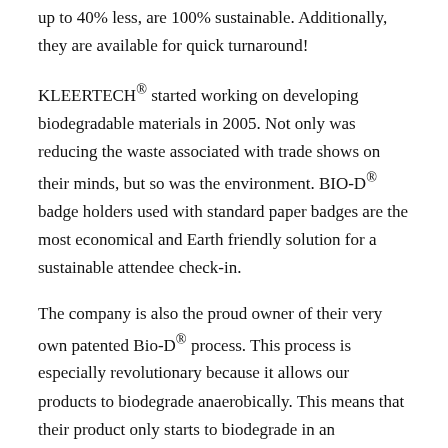up to 40% less, are 100% sustainable. Additionally, they are available for quick turnaround!
KLEERTECH® started working on developing biodegradable materials in 2005. Not only was reducing the waste associated with trade shows on their minds, but so was the environment. BIO-D® badge holders used with standard paper badges are the most economical and Earth friendly solution for a sustainable attendee check-in.
The company is also the proud owner of their very own patented Bio-D® process. This process is especially revolutionary because it allows our products to biodegrade anaerobically. This means that their product only starts to biodegrade in an environment with no oxygen, meaning you can store it for future use for as long as you like, but it will degrade if it ends up in a landfill.